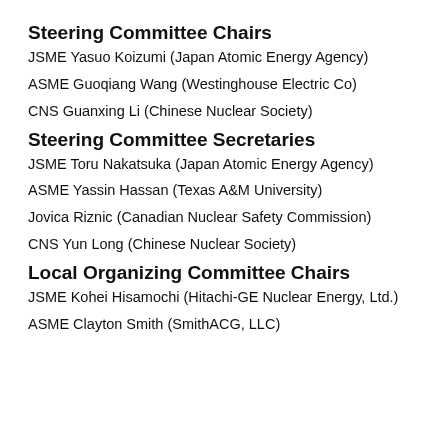Steering Committee Chairs
JSME Yasuo Koizumi (Japan Atomic Energy Agency)
ASME Guoqiang Wang (Westinghouse Electric Co)
CNS Guanxing Li (Chinese Nuclear Society)
Steering Committee Secretaries
JSME Toru Nakatsuka (Japan Atomic Energy Agency)
ASME Yassin Hassan (Texas A&M University)
Jovica Riznic (Canadian Nuclear Safety Commission)
CNS Yun Long (Chinese Nuclear Society)
Local Organizing Committee Chairs
JSME Kohei Hisamochi (Hitachi-GE Nuclear Energy, Ltd.)
ASME Clayton Smith (SmithACG, LLC)